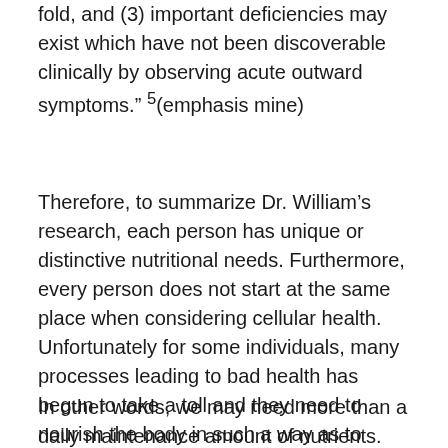fold, and (3) important deficiencies may exist which have not been discoverable clinically by observing acute outward symptoms." 5(emphasis mine)
Therefore, to summarize Dr. William's research, each person has unique or distinctive nutritional needs. Furthermore, every person does not start at the same place when considering cellular health. Unfortunately for some individuals, many processes leading to bad health has begun to take a toll and they need to nourish the body in such a way as to provide the nutrients needed for the body's immune system repair functions. The endocrine, digestive, and elimination systems of our bodies also need to be cared for.
In other words, we may need more than a daily maintenance amount of nutrients. Also, it should be noted